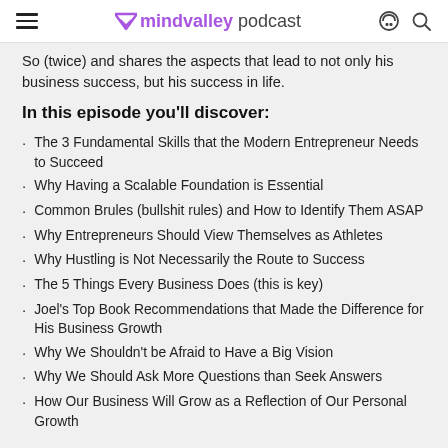mindvalley podcast
So (twice) and shares the aspects that lead to not only his business success, but his success in life.
In this episode you'll discover:
The 3 Fundamental Skills that the Modern Entrepreneur Needs to Succeed
Why Having a Scalable Foundation is Essential
Common Brules (bullshit rules) and How to Identify Them ASAP
Why Entrepreneurs Should View Themselves as Athletes
Why Hustling is Not Necessarily the Route to Success
The 5 Things Every Business Does (this is key)
Joel's Top Book Recommendations that Made the Difference for His Business Growth
Why We Shouldn't be Afraid to Have a Big Vision
Why We Should Ask More Questions than Seek Answers
How Our Business Will Grow as a Reflection of Our Personal Growth